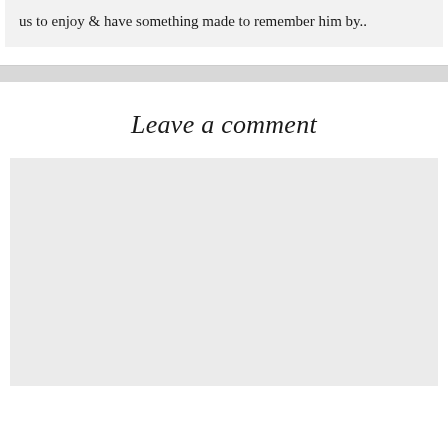us to enjoy & have something made to remember him by..
Leave a comment
[Figure (other): Empty comment input box area, light gray background rectangle]